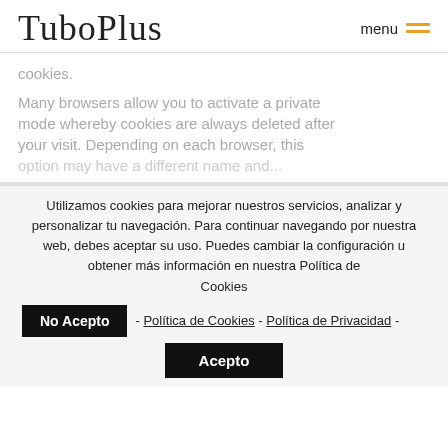TuboPlus  menu
cookies.
Many browsers allow you to activate a private mode whereby cookies are always deleted after your visit. Depending on each browser, this
Utilizamos cookies para mejorar nuestros servicios, analizar y personalizar tu navegación. Para continuar navegando por nuestra web, debes aceptar su uso. Puedes cambiar la configuración u obtener más información en nuestra Política de Cookies
No Acepto - Política de Cookies - Política de Privacidad -
Acepto